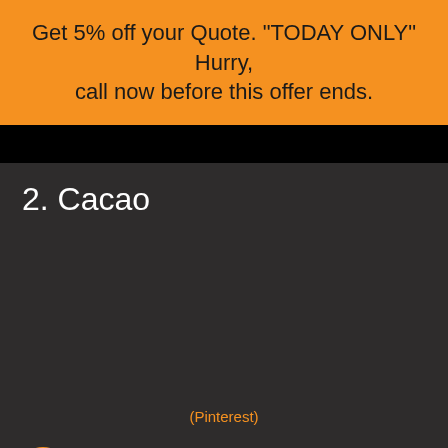Get 5% off your Quote. "TODAY ONLY" Hurry, call now before this offer ends.
[Figure (photo): Dark section with black bar below orange banner, placeholder for cacao image]
2. Cacao
(Pinterest)
list of 5 of the Amazon's most interesting plants would not be complete without mentioning the cacao plant. Cacao is where we derive all of our delicious